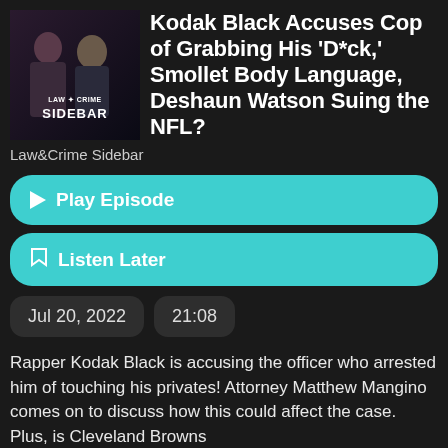[Figure (illustration): Law&Crime Sidebar podcast cover art showing two people (a woman and a man) with text 'LAW & CRIME SIDEBAR' in white on dark background]
Kodak Black Accuses Cop of Grabbing His 'D*ck,' Smollet Body Language, Deshaun Watson Suing the NFL?
Law&Crime Sidebar
Play Episode
Listen Later
Jul 20, 2022
21:08
Rapper Kodak Black is accusing the officer who arrested him of touching his privates! Attorney Matthew Mangino comes on to discuss how this could affect the case. Plus, is Cleveland Browns
See More